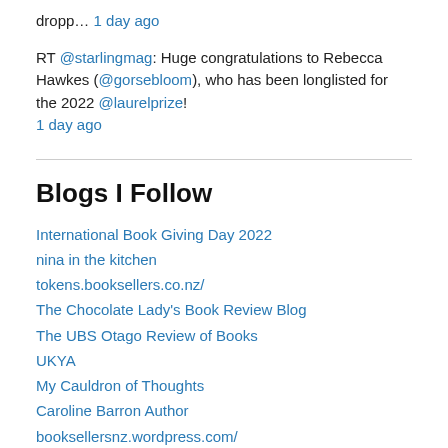dropp… 1 day ago
RT @starlingmag: Huge congratulations to Rebecca Hawkes (@gorsebloom), who has been longlisted for the 2022 @laurelprize! 1 day ago
Blogs I Follow
International Book Giving Day 2022
nina in the kitchen
tokens.booksellers.co.nz/
The Chocolate Lady's Book Review Blog
The UBS Otago Review of Books
UKYA
My Cauldron of Thoughts
Caroline Barron Author
booksellersnz.wordpress.com/
The Free-Range Bookclub
myfriendlucy